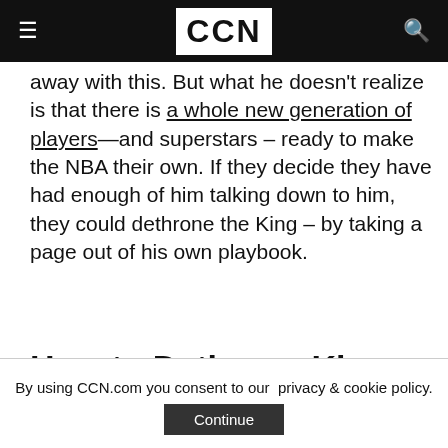CCN
away with this. But what he doesn't realize is that there is a whole new generation of players—and superstars – ready to make the NBA their own. If they decide they have had enough of him talking down to him, they could dethrone the King – by taking a page out of his own playbook.
How to Dethrone King James
It's a two-step plan—keep King James from
By using CCN.com you consent to our  privacy & cookie policy.
Continue